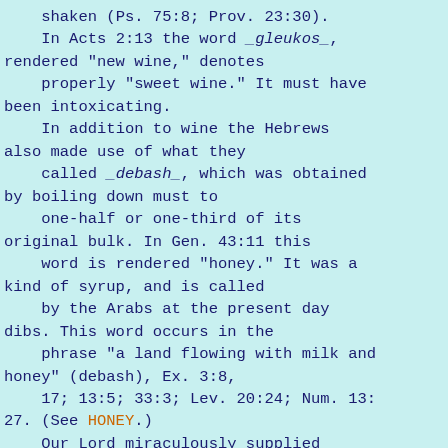shaken (Ps. 75:8; Prov. 23:30).
    In Acts 2:13 the word _gleukos_, rendered "new wine," denotes
    properly "sweet wine." It must have been intoxicating.
    In addition to wine the Hebrews also made use of what they
    called _debash_, which was obtained by boiling down must to
    one-half or one-third of its original bulk. In Gen. 43:11 this
    word is rendered "honey." It was a kind of syrup, and is called
    by the Arabs at the present day dibs. This word occurs in the
    phrase "a land flowing with milk and honey" (debash), Ex. 3:8,
    17; 13:5; 33:3; Lev. 20:24; Num. 13:27. (See HONEY.)
    Our Lord miraculously supplied wine at the marriage feast in